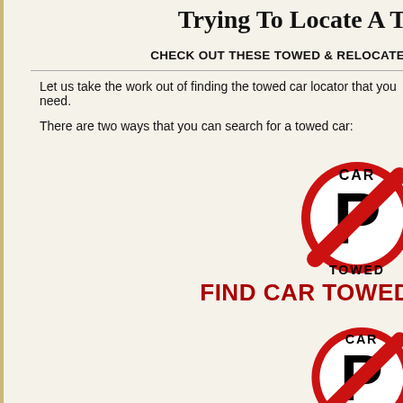Trying To Locate A T...
CHECK OUT THESE TOWED & RELOCATE...
Let us take the work out of finding the towed car locator that you need.
There are two ways that you can search for a towed car:
[Figure (logo): Red no-parking circle with letter P crossed out, text CAR above and TOWED below]
FIND CAR TOWED...
[Figure (logo): Red no-parking circle with letter P crossed out, text CAR above and TOWED below (second instance)]